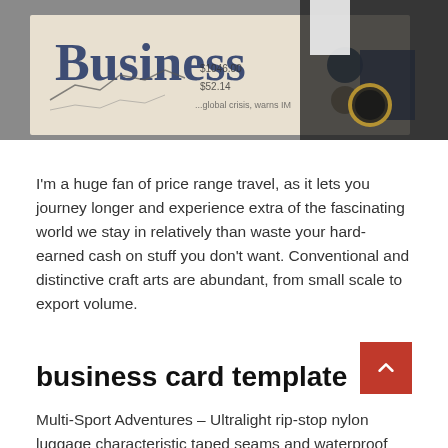[Figure (photo): A person in a business suit holding a Business newspaper open, showing financial charts and stock prices. The newspaper headline reads 'Business'.]
I'm a huge fan of price range travel, as it lets you journey longer and experience extra of the fascinating world we stay in relatively than waste your hard-earned cash on stuff you don't want. Conventional and distinctive craft arts are abundant, from small scale to export volume.
business card template
Multi-Sport Adventures – Ultralight rip-stop nylon luggage characteristic taped seams and waterproof zippers for splash-proof performance while interior